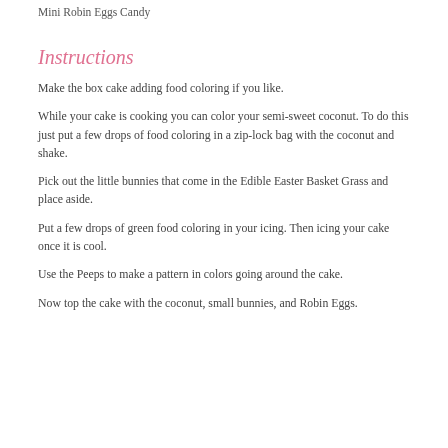Mini Robin Eggs Candy
Instructions
Make the box cake adding food coloring if you like.
While your cake is cooking you can color your semi-sweet coconut. To do this just put a few drops of food coloring in a zip-lock bag with the coconut and shake.
Pick out the little bunnies that come in the Edible Easter Basket Grass and place aside.
Put a few drops of green food coloring in your icing. Then icing your cake once it is cool.
Use the Peeps to make a pattern in colors going around the cake.
Now top the cake with the coconut, small bunnies, and Robin Eggs.